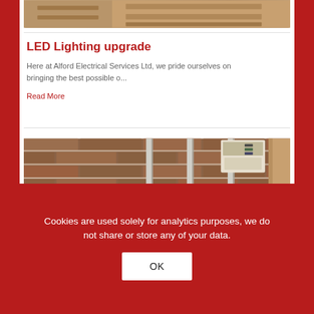[Figure (photo): Partial view of wooden staircase or interior woodwork, cropped at top of page]
LED Lighting upgrade
Here at Alford Electrical Services Ltd, we pride ourselves on bringing the best possible o...
Read More
[Figure (photo): Brick wall exterior with electrical conduit pipes running vertically and an intercom panel mounted on the wall]
Cookies are used solely for analytics purposes, we do not share or store any of your data.
OK